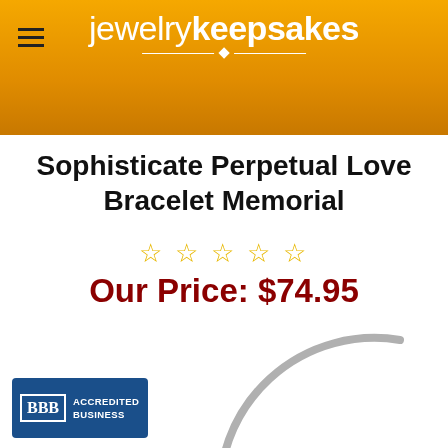jewelry keepsakes
Sophisticate Perpetual Love Bracelet Memorial
☆ ☆ ☆ ☆ ☆
Our Price: $74.95
[Figure (photo): Partial view of a silver bracelet/bangle shown as a circular arc]
[Figure (logo): BBB Accredited Business badge]